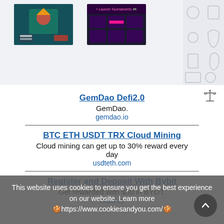[Figure (screenshot): Screenshot thumbnails: a game image with teal background and cartoon character, a tournament/event image with dark purple background and pink text, and a partially visible light gray patterned image on the right edge.]
[Figure (other): Small scale/balance icon in the upper right area of the listings section.]
GemDao Defi2.0
GemDao.
gemdao.io
BTC ETH USDT TRX Cloud Mining
Cloud mining can get up to 30% reward every day
usdteth.com
Register and Deposit With Bybit
Get rewarded with $50 in BYOT.
cladx.io
This website uses cookies to ensure you get the best experience on our website. Learn more 🍪https://www.cookiesandyou.com/🍪